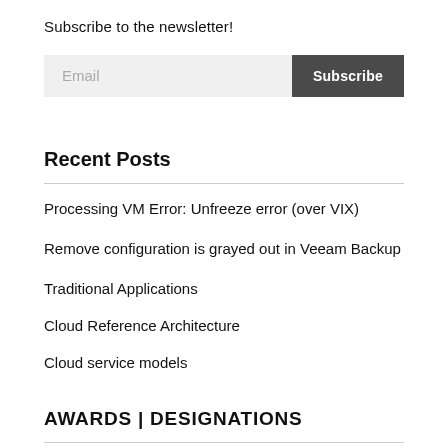Subscribe to the newsletter!
[Figure (other): Email input field with Subscribe button]
Recent Posts
Processing VM Error: Unfreeze error (over VIX)
Remove configuration is grayed out in Veeam Backup
Traditional Applications
Cloud Reference Architecture
Cloud service models
AWARDS | DESIGNATIONS